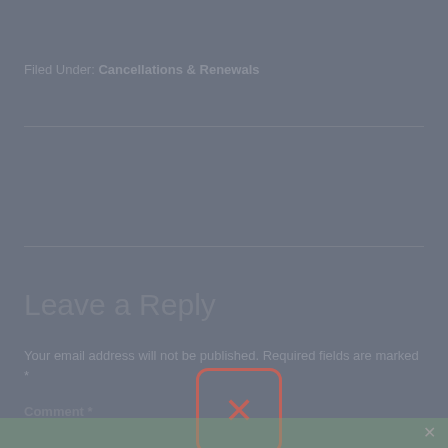Filed Under: Cancellations & Renewals
Leave a Reply
Your email address will not be published. Required fields are marked *
Comment *